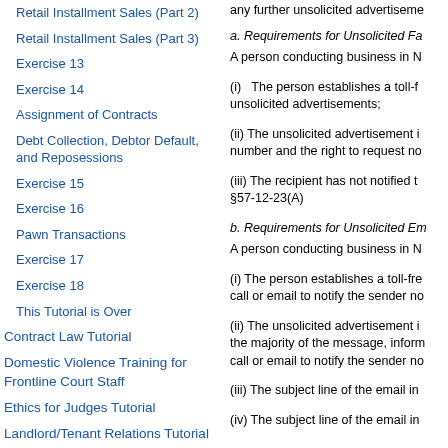Retail Installment Sales (Part 2)
Retail Installment Sales (Part 3)
Exercise 13
Exercise 14
Assignment of Contracts
Debt Collection, Debtor Default, and Reposessions
Exercise 15
Exercise 16
Pawn Transactions
Exercise 17
Exercise 18
This Tutorial is Over
Contract Law Tutorial
Domestic Violence Training for Frontline Court Staff
Ethics for Judges Tutorial
Landlord/Tenant Relations Tutorial
any further unsolicited advertiseme...
a. Requirements for Unsolicited Fa... A person conducting business in N...
(i) The person establishes a toll-f... unsolicited advertisements;
(ii) The unsolicited advertisement i... number and the right to request no...
(iii) The recipient has not notified t... §57-12-23(A)
b. Requirements for Unsolicited Em... A person conducting business in N...
(i) The person establishes a toll-fre... call or email to notify the sender no...
(ii) The unsolicited advertisement i... the majority of the message, inform... call or email to notify the sender no...
(iii) The subject line of the email in...
(iv) The subject line of the email in...